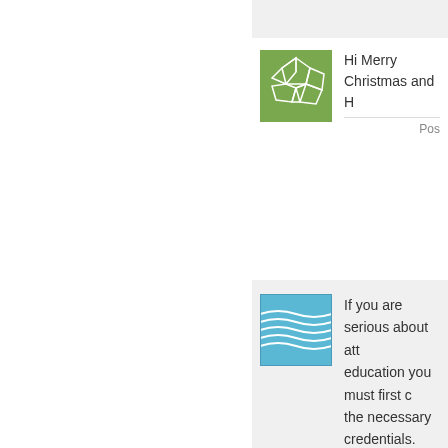[Figure (illustration): Green avatar with geometric polygon/soccer ball pattern]
Hi Merry Christmas and H
Pos
[Figure (illustration): Blue wavy lines avatar]
If you are serious about att education you must first co the necessary credentials.
Posted b
[Figure (illustration): Yellow-green geometric curves avatar]
http://montydunomes.blog
[Figure (illustration): Blue concentric oval curves avatar]
It is unfortunate to hear wa rising. Health insurance is